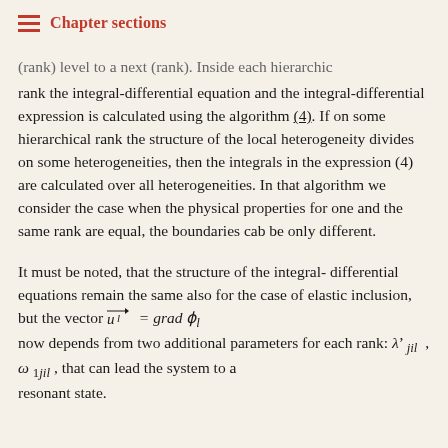Chapter sections
(rank) level to a next (rank). Inside each hierarchic rank the integral-differential equation and the integral-differential expression is calculated using the algorithm (4). If on some hierarchical rank the structure of the local heterogeneity divides on some heterogeneities, then the integrals in the expression (4) are calculated over all heterogeneities. In that algorithm we consider the case when the physical properties for one and the same rank are equal, the boundaries cab be only different.
It must be noted, that the structure of the integral-differential equations remain the same also for the case of elastic inclusion, but the vector u_l = grad φ_l now depends from two additional parameters for each rank: λ' jil , ω 1jil , that can lead the system to a resonant state.